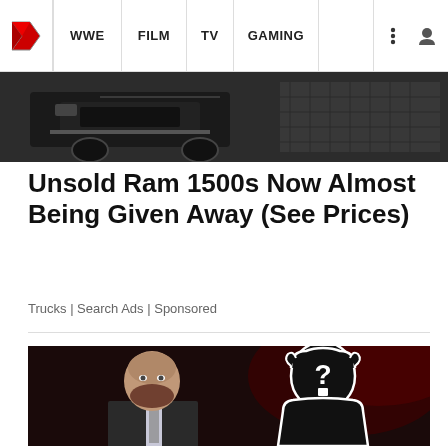WWE | FILM | TV | GAMING
[Figure (photo): Partial view of a dark truck/vehicle front end, grille and bumper visible]
Unsold Ram 1500s Now Almost Being Given Away (See Prices)
Trucks | Search Ads | Sponsored
[Figure (photo): WWE's Triple H in a suit with a mystery silhouetted figure with a question mark on the right, dark red arena background]